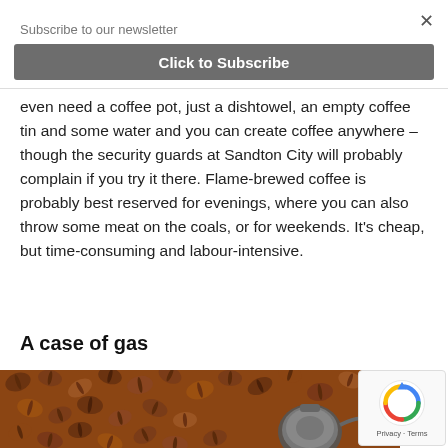Subscribe to our newsletter
Click to Subscribe
even need a coffee pot, just a dishtowel, an empty coffee tin and some water and you can create coffee anywhere – though the security guards at Sandton City will probably complain if you try it there. Flame-brewed coffee is probably best reserved for evenings, where you can also throw some meat on the coals, or for weekends. It's cheap, but time-consuming and labour-intensive.
A case of gas
[Figure (photo): Coffee beans with a kettle visible in the lower right portion of the image]
[Figure (logo): reCAPTCHA badge with Google logo and Privacy - Terms text]